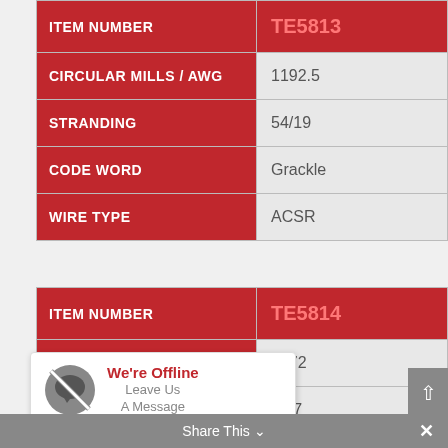| ITEM NUMBER | TE5813 |
| --- | --- |
| CIRCULAR MILLS / AWG | 1192.5 |
| STRANDING | 54/19 |
| CODE WORD | Grackle |
| WIRE TYPE | ACSR |
| ITEM NUMBER | TE5814 |
| --- | --- |
| CIRCULAR MILLS / AWG | 1272 |
| STRANDING | 45/7 |
| CODE WORD | Bittern |
We're Offline — Leave Us A Message
Share This